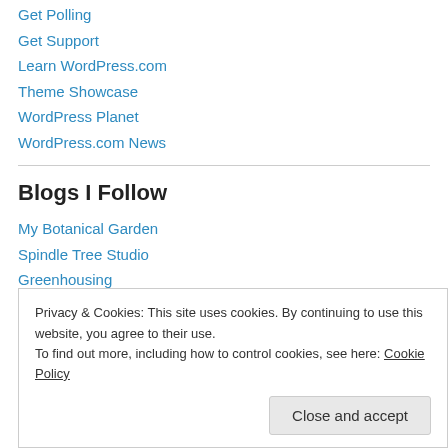Get Polling
Get Support
Learn WordPress.com
Theme Showcase
WordPress Planet
WordPress.com News
Blogs I Follow
My Botanical Garden
Spindle Tree Studio
Greenhousing
Your Perfect Burn
Privacy & Cookies: This site uses cookies. By continuing to use this website, you agree to their use.
To find out more, including how to control cookies, see here: Cookie Policy
Close and accept
WordPress.com News